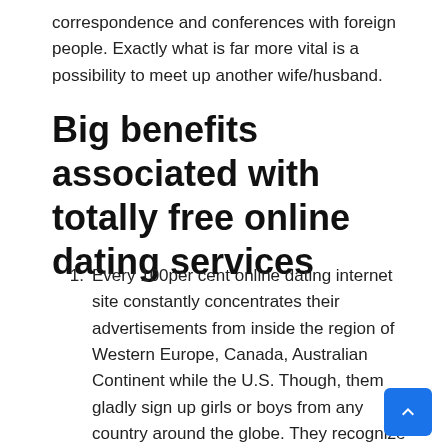correspondence and conferences with foreign people. Exactly what is far more vital is a possibility to meet up another wife/husband.
Big benefits associated with totally free online dating services
Every 100per cent online dating internet site constantly concentrates their advertisements from inside the region of Western Europe, Canada, Australian Continent while the U.S. Though, them gladly sign up girls or boys from any country around the globe. They recognize everyone who's trying to find the next one half far away also native types. Meeting with foreign people as a result of internet internet dating networks was a priority number 1 for every top online online dating sites. The products really does all possible and impossible factors to make every single user